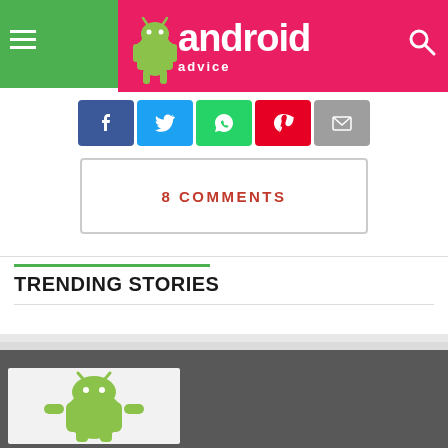Android Advice
[Figure (screenshot): Social share buttons: Facebook, Twitter, WhatsApp, Pinterest, Email]
8 COMMENTS
TRENDING STORIES
[Figure (illustration): Android robot mascot illustration on light background in dark footer area]